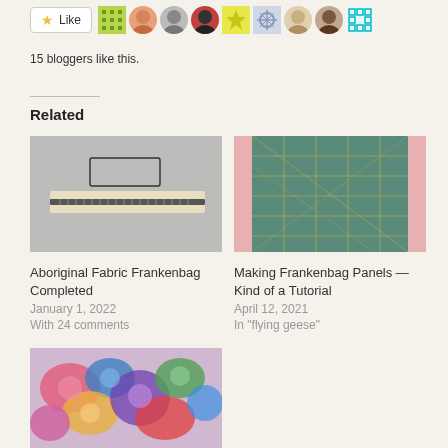[Figure (other): Like button with star icon and row of blogger avatar photos/icons]
15 bloggers like this.
Related
[Figure (photo): Photo of a zipper on grey fabric — Aboriginal Fabric Frankenbag]
[Figure (photo): Photo of a green cutting mat with pink border and yellow grid lines]
Aboriginal Fabric Frankenbag Completed
January 1, 2022
With 24 comments
Making Frankenbag Panels — Kind of a Tutorial
April 12, 2021
In "flying geese"
[Figure (photo): Photo of colorful floral patterned fabric pieces in pink, blue, orange hues]